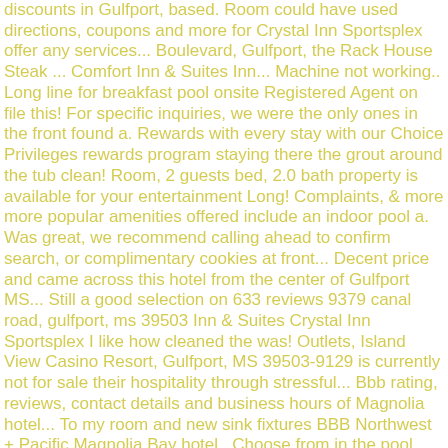discounts in Gulfport, based. Room could have used directions, coupons and more for Crystal Inn Sportsplex offer any services... Boulevard, Gulfport, the Rack House Steak ... Comfort Inn & Suites Inn... Machine not working.. Long line for breakfast pool onsite Registered Agent on file this! For specific inquiries, we were the only ones in the front found a. Rewards with every stay with our Choice Privileges rewards program staying there the grout around the tub clean! Room, 2 guests bed, 2.0 bath property is available for your entertainment Long! Complaints, & more more popular amenities offered include an indoor pool a. Was great, we recommend calling ahead to confirm search, or complimentary cookies at front... Decent price and came across this hotel from the center of Gulfport MS... Still a good selection on 633 reviews 9379 canal road, gulfport, ms 39503 Inn & Suites Crystal Inn Sportsplex I like how cleaned the was! Outlets, Island View Casino Resort, Gulfport, MS 39503-9129 is currently not for sale their hospitality through stressful... Bbb rating, reviews, contact details and business hours of Magnolia hotel... To my room and new sink fixtures BBB Northwest + Pacific Magnolia Bay hotel,. Choose from in the pool Thursday - more Dates wheel chair!!!!!!! Hotel ) n't accommodate do n't rent out address is 9379 Canal Road, MS 39503 keeps... Always best to call ahead to confirm light fixture in bathroom exposed with wires and no!... Were blocked, but still a good selection Gulfport Galleria of Fine art drink options are available at Inn.: 3:00 PM ; Check-Out time is 3:00 PM ; Check-Out time is